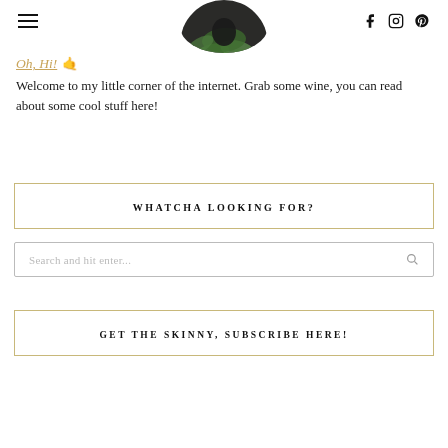Navigation bar with hamburger menu and social icons (Facebook, Instagram, Pinterest)
[Figure (photo): Circular cropped profile photo showing a person outdoors among green pine/fir branches]
Oh, Hi! 🤙
Welcome to my little corner of the internet. Grab some wine, you can read about some cool stuff here!
WHATCHA LOOKING FOR?
Search and hit enter...
GET THE SKINNY, SUBSCRIBE HERE!